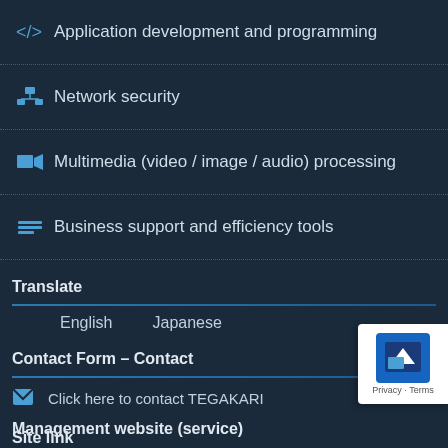Application development and programming
Network security
Multimedia (video / image / audio) processing
Business support and efficiency tools
Translate
English    Japanese
Contact Form – Contact
Click here to contact TEGAKARI
Site link
Privacy Policy
Management website (service)